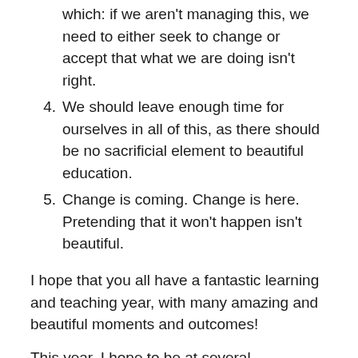(continuation) which: if we aren't managing this, we need to either seek to change or accept that what we are doing isn't right.
4. We should leave enough time for ourselves in all of this, as there should be no sacrificial element to beautiful education.
5. Change is coming. Change is here. Pretending that it won't happen isn't beautiful.
I hope that you all have a fantastic learning and teaching year, with many amazing and beautiful moments and outcomes!
This year, I hope to be at several conferences and I look forward to talking to anyone about the ideas in this phase (or any other phase) of the blog.
Have a great year!